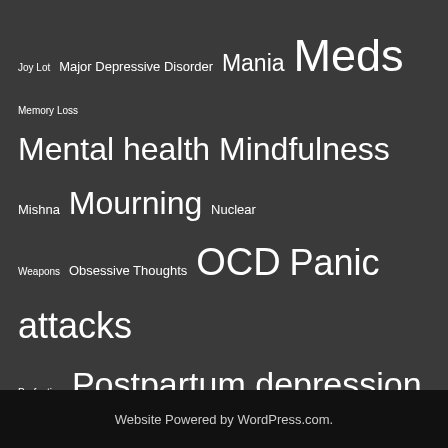[Figure (infographic): Tag cloud of mental health topics on a dark grey background. Terms shown in varying font sizes indicating frequency/importance. Terms include: Joy Lot, Major Depressive Disorder, Mania, Meds, Memory Loss, Mental health, Mindfulness, Mishna, Mourning, Nuclear Weapons, Obsessive Thoughts, OCD, Panic attacks, Perfection, Postpartum depression, Pregnancy, Psalms, Psychosis, PTSD, Rape, Rashi, Relapse, Sarah, Self Hatred, Self Love, Sex, Sexual assult, Sexual harassment, Sodom, Spiritual Practice, Stigma, Substance abuse, Theology, Therapy, Torah, Triggers, Voice, Weaning, Zoloft]
Website Powered by WordPress.com.